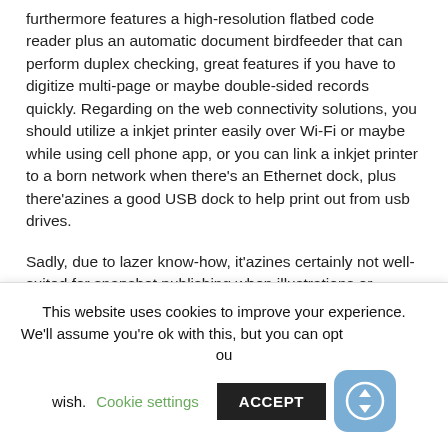furthermore features a high-resolution flatbed code reader plus an automatic document birdfeeder that can perform duplex checking, great features if you have to digitize multi-page or maybe double-sided records quickly. Regarding on the web connectivity solutions, you should utilize a inkjet printer easily over Wi-Fi or maybe while using cell phone app, or you can link a inkjet printer to a born network when there's an Ethernet dock, plus there'azines a good USB dock to help print out from usb drives.
Sadly, due to lazer know-how, it'azines certainly not well-suited for snapshot publishing when illustrations or photos show up with plenty of banding plus
This website uses cookies to improve your experience. We'll assume you're ok with this, but you can opt-out if you wish.